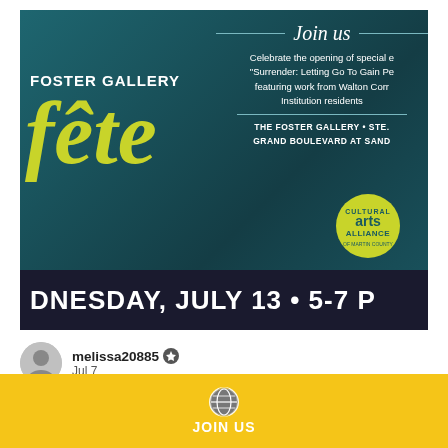[Figure (screenshot): Event flyer for Foster Gallery Fête showing teal background with 'Join us' script text, gallery name, event description about 'Surrender: Letting Go To Gain Peace' featuring work from Walton Correctional Institution residents, Cultural Arts Alliance logo, and bottom bar reading 'WEDNESDAY, JULY 13 • 5-7 P']
melissa20885 Jul 7
CAA Showcases Expanded Prison Art Program With Special...
JOIN US